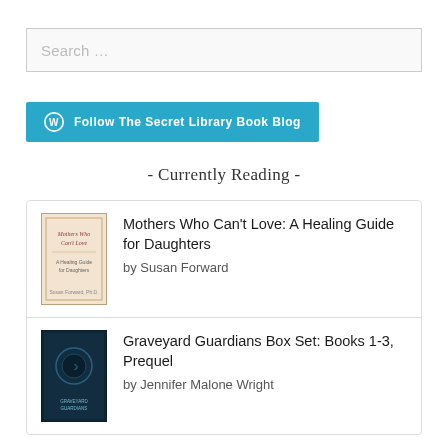[Figure (other): Search input box with placeholder text 'Search …']
[Figure (other): Teal button with WordPress logo: 'Follow The Secret Library Book Blog']
- Currently Reading -
Mothers Who Can't Love: A Healing Guide for Daughters by Susan Forward
Graveyard Guardians Box Set: Books 1-3, Prequel by Jennifer Malone Wright